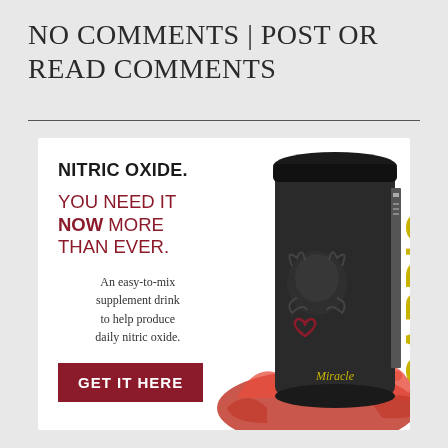NO COMMENTS | POST OR READ COMMENTS
[Figure (illustration): Advertisement for 'Cardio Miracle' supplement. Left side shows text: 'NITRIC OXIDE. YOU NEED IT NOW MORE THAN EVER. An easy-to-mix supplement drink to help produce daily nitric oxide.' with a dark red 'GET IT HERE' button. Right side shows a dark cylindrical supplement container labeled 'CARDIO Miracle' with a lion emblem and a red liquid splash.]